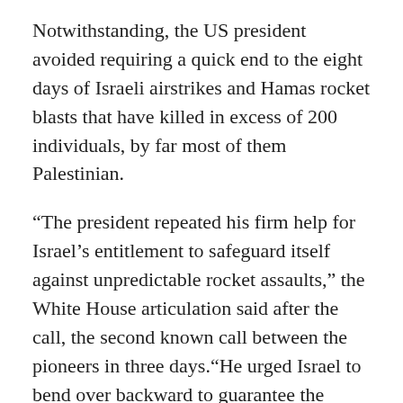Notwithstanding, the US president avoided requiring a quick end to the eight days of Israeli airstrikes and Hamas rocket blasts that have killed in excess of 200 individuals, by far most of them Palestinian.
“The president repeated his firm help for Israel’s entitlement to safeguard itself against unpredictable rocket assaults,” the White House articulation said after the call, the second known call between the pioneers in three days.“He urged Israel to bend over backward to guarantee the insurance of guiltless regular folks. The two chiefs examined progress in Israel’s military tasks against Hamas and other fear monger bunches in Gaza. The president communicated his help for a truce and examined US commitment with Egypt and different accomplices towards that end.”
Israel completed a new rush of airstrikes in the pre-first light long periods of Tuesday, evening out a structure